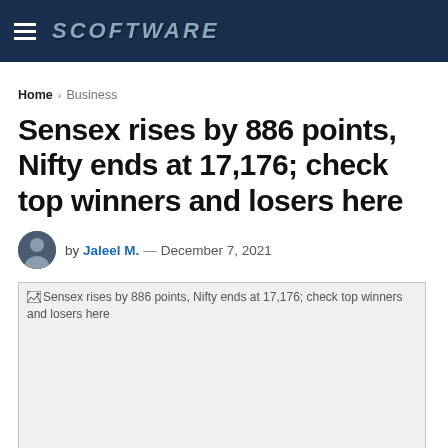SCOFTWARE
Home > Business
Sensex rises by 886 points, Nifty ends at 17,176; check top winners and losers here
by Jaleel M. — December 7, 2021
[Figure (photo): Article hero image placeholder showing alt text: Sensex rises by 886 points, Nifty ends at 17,176; check top winners and losers here]